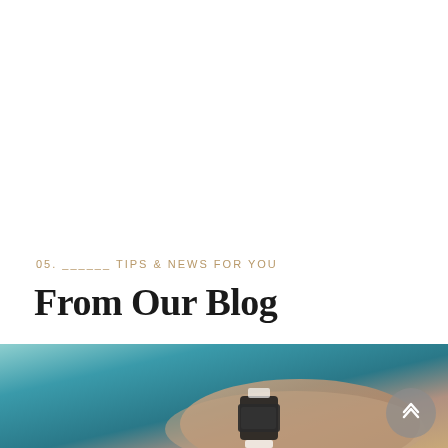05. ______ TIPS & NEWS FOR YOU
From Our Blog
[Figure (photo): A close-up photo of a person's wrist wearing a smartwatch/fitness tracker, with a teal/blue background. A golden-tan video badge icon appears in the top-left corner of the image, and a circular up-arrow navigation button appears in the bottom-right.]